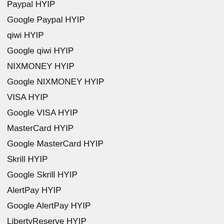Paypal HYIP
Google Paypal HYIP
qiwi HYIP
Google qiwi HYIP
NIXMONEY HYIP
Google NIXMONEY HYIP
VISA HYIP
Google VISA HYIP
MasterCard HYIP
Google MasterCard HYIP
Skrill HYIP
Google Skrill HYIP
AlertPay HYIP
Google AlertPay HYIP
LibertyReserve HYIP
Google LibertyReserve HYIP